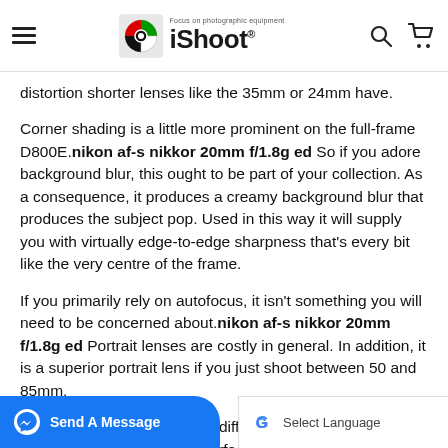iShoot — Focus on photographic equipment
distortion shorter lenses like the 35mm or 24mm have.
Corner shading is a little more prominent on the full-frame D800E. nikon af-s nikkor 20mm f/1.8g ed So if you adore background blur, this ought to be part of your collection. As a consequence, it produces a creamy background blur that produces the subject pop. Used in this way it will supply you with virtually edge-to-edge sharpness that's every bit like the very centre of the frame.
If you primarily rely on autofocus, it isn't something you will need to be concerned about. nikon af-s nikkor 20mm f/1.8g ed Portrait lenses are costly in general. In addition, it is a superior portrait lens if you just shoot between 50 and 85mm.
Smaller apertures will end in diffraction blurring. This sort of lens utilizes non-spherical surfaces on either one or either side of the glass to be able to eliminate certain forms of lens aberration. The lens is extremely simple to travel with. To be able to emphasize how sharp this lens is, we're providing xt page. This way, you